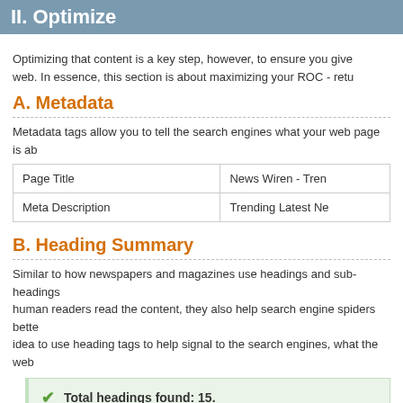II. Optimize
Optimizing that content is a key step, however, to ensure you give web. In essence, this section is about maximizing your ROC - retu
A. Metadata
Metadata tags allow you to tell the search engines what your web page is ab
|  |  |
| --- | --- |
| Page Title | News Wiren - Tren |
| Meta Description | Trending Latest Ne |
B. Heading Summary
Similar to how newspapers and magazines use headings and sub-headings human readers read the content, they also help search engine spiders bette idea to use heading tags to help signal to the search engines, what the web
Total headings found: 15.
| Heading Type |
| --- |
| First-Level (H1) |
| Second-Level (H2) |